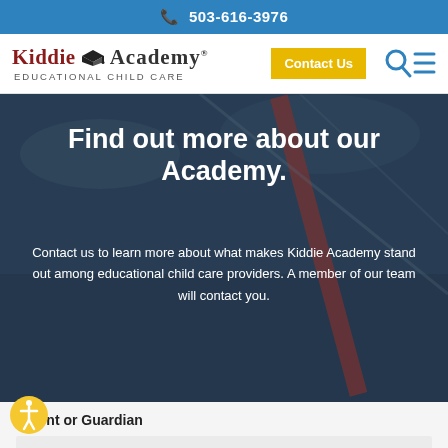503-616-3976
[Figure (logo): Kiddie Academy Educational Child Care logo with graduation cap icon]
Contact Us
Find out more about our Academy.
Contact us to learn more about what makes Kiddie Academy stand out among educational child care providers. A member of our team will contact you.
Parent or Guardian
First Name